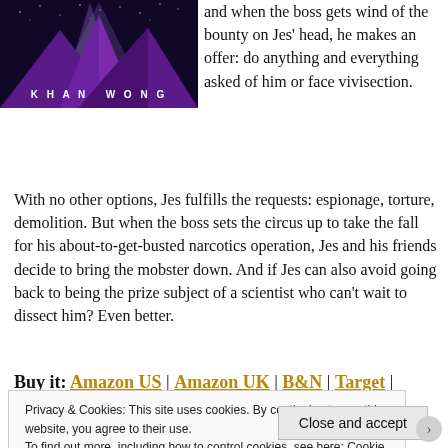[Figure (illustration): Book cover for a novel by Khan Wong, showing purple mountains under a starry dark sky with spotlights, title partially visible at top, author name KHAN WONG at bottom in white spaced letters.]
and when the boss gets wind of the bounty on Jes' head, he makes an offer: do anything and everything asked of him or face vivisection.
With no other options, Jes fulfills the requests: espionage, torture, demolition. But when the boss sets the circus up to take the fall for his about-to-get-busted narcotics operation, Jes and his friends decide to bring the mobster down. And if Jes can also avoid going back to being the prize subject of a scientist who can't wait to dissect him? Even better.
Buy it: Amazon US | Amazon UK | B&N | Target | Angry
Privacy & Cookies: This site uses cookies. By continuing to use this website, you agree to their use.
To find out more, including how to control cookies, see here: Cookie Policy
Close and accept